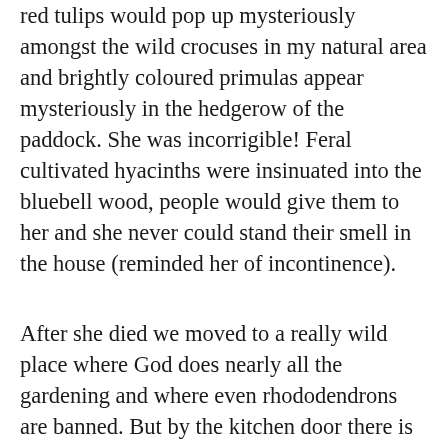red tulips would pop up mysteriously amongst the wild crocuses in my natural area and brightly coloured primulas appear mysteriously in the hedgerow of the paddock. She was incorrigible! Feral cultivated hyacinths were insinuated into the bluebell wood, people would give them to her and she never could stand their smell in the house (reminded her of incontinence).
After she died we moved to a really wild place where God does nearly all the gardening and where even rhododendrons are banned. But by the kitchen door there is an old sink